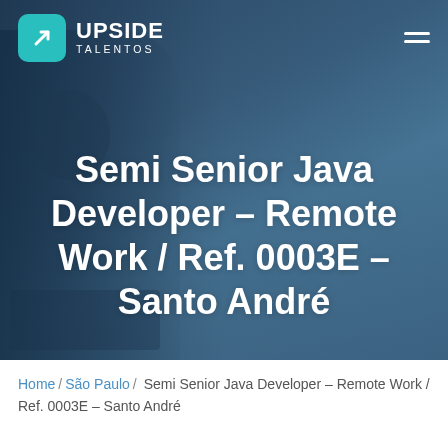[Figure (screenshot): Upside Talentos website header with logo top-left (teal icon with arrow, UPSIDE TALENTOS text), hamburger menu top-right, and large white bold title text on a dark blue background with a blurred person in background.]
Semi Senior Java Developer – Remote Work / Ref. 0003E – Santo André
Home / São Paulo / Semi Senior Java Developer – Remote Work / Ref. 0003E – Santo André